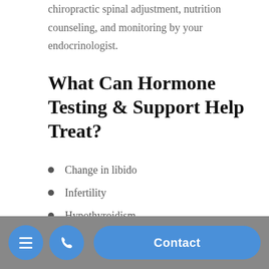chiropractic spinal adjustment, nutrition counseling, and monitoring by your endocrinologist.
What Can Hormone Testing & Support Help Treat?
Change in libido
Infertility
Hypothyroidism
Mood fluctuations
Hair loss
Hot flashes